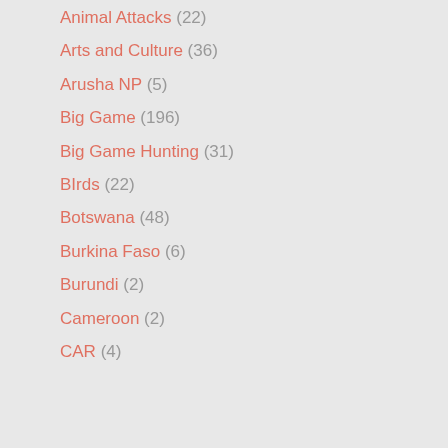Animal Attacks (22)
Arts and Culture (36)
Arusha NP (5)
Big Game (196)
Big Game Hunting (31)
BIrds (22)
Botswana (48)
Burkina Faso (6)
Burundi (2)
Cameroon (2)
CAR (4)